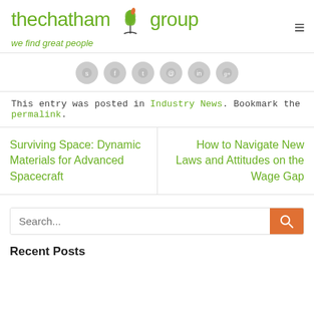[Figure (logo): The Chatham Group logo with tree/leaf icon and tagline 'we find great people']
[Figure (other): Row of six circular social media share icons in grey]
This entry was posted in Industry News. Bookmark the permalink.
Surviving Space: Dynamic Materials for Advanced Spacecraft
How to Navigate New Laws and Attitudes on the Wage Gap
Search...
Recent Posts